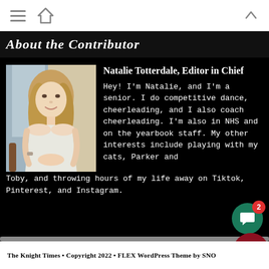About the Contributor
[Figure (photo): Portrait photo of Natalie Totterdale, a young woman with blonde hair wearing a white dress, seated indoors.]
Natalie Totterdale, Editor in Chief
Hey! I'm Natalie, and I'm a senior. I do competitive dance, cheerleading, and I also coach cheerleading. I'm also in NHS and on the yearbook staff. My other interests include playing with my cats, Parker and Toby, and throwing hours of my life away on Tiktok, Pinterest, and Instagram.
The Knight Times • Copyright 2022 • FLEX WordPress Theme by SNO